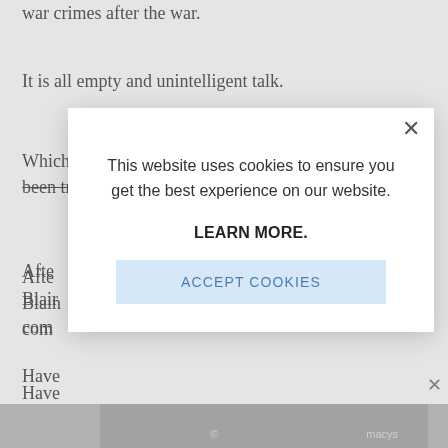war crimes after the war.
It is all empty and unintelligent talk.
Which war criminals from a nuclear power have ever been tried before?
Afte Blair com
Have
How lead UK?
[Figure (screenshot): Cookie consent modal dialog overlay on a news article page. Modal contains text: 'This website uses cookies to ensure you get the best experience on our website.' followed by 'LEARN MORE.' in bold and an 'ACCEPT COOKIES' button in light blue. A close X button appears in the top right corner of the modal.]
[Figure (photo): Bottom strip showing partial image of a person's face, partially obscured by the modal overlay. Text label visible on right side.]